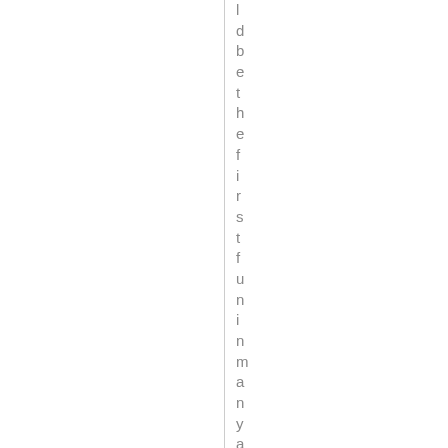l d b e t h e f i r s t f u n i n m a n y a m o o